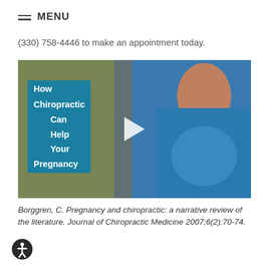MENU
(330) 758-4446 to make an appointment today.
[Figure (screenshot): Video thumbnail showing a pregnant woman in a blue top, with teal overlay text reading 'How Chiropractic Can Help Your Pregnancy' and a play button in the center.]
Borggren, C. Pregnancy and chiropractic: a narrative review of the literature. Journal of Chiropractic Medicine 2007;6(2):70-74.